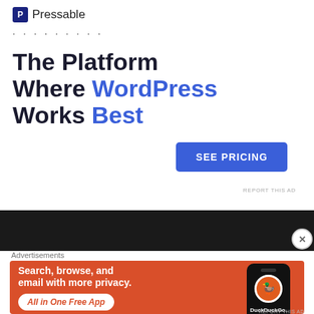[Figure (logo): Pressable logo with blue square icon and text]
·········
The Platform Where WordPress Works Best
SEE PRICING
REPORT THIS AD
[Figure (photo): Dark textured background banner]
Advertisements
[Figure (infographic): DuckDuckGo advertisement: Search, browse, and email with more privacy. All in One Free App. Shows phone with DuckDuckGo logo.]